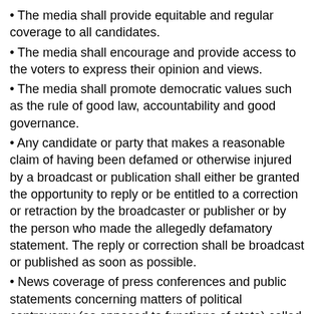The media shall provide equitable and regular coverage to all candidates.
The media shall encourage and provide access to the voters to express their opinion and views.
The media shall promote democratic values such as the rule of good law, accountability and good governance.
Any candidate or party that makes a reasonable claim of having been defamed or otherwise injured by a broadcast or publication shall either be granted the opportunity to reply or be entitled to a correction or retraction by the broadcaster or publisher or by the person who made the allegedly defamatory statement. The reply or correction shall be broadcast or published as soon as possible.
News coverage of press conferences and public statements concerning matters of political controversy (as opposed to functions of state) called or made by the head of government, government ministers, or members of parliament shall be subject to a right of reply or equal time rules. This obligation acquires even greater force when the person making the statement is also standing for office.
State-owned media shall publish or broadcast voter education material.